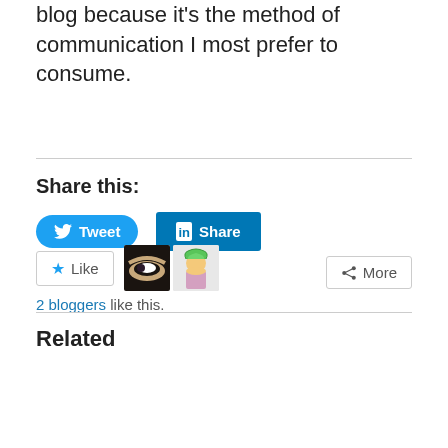blog because it's the method of communication I most prefer to consume.
Share this:
[Figure (screenshot): Social share buttons: Tweet (Twitter) and Share (LinkedIn) buttons in blue, plus a More button with share icon]
[Figure (screenshot): Like button with star icon and two blogger avatars]
2 bloggers like this.
Related